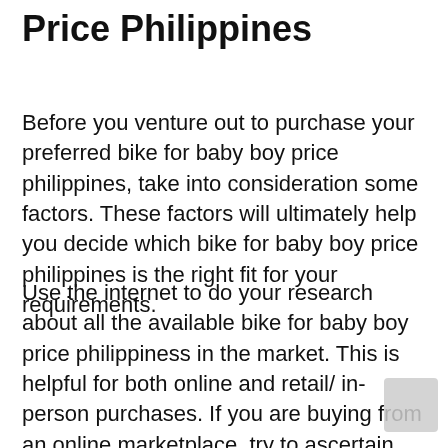Price Philippines
Before you venture out to purchase your preferred bike for baby boy price philippines, take into consideration some factors. These factors will ultimately help you decide which bike for baby boy price philippines is the right fit for your requirements.
Use the internet to do your research about all the available bike for baby boy price philippiness in the market. This is helpful for both online and retail/ in-person purchases. If you are buying from an online marketplace, try to ascertain the most trustworthy online store. Usually, the online shops that have the highest following of masses are the best ones.